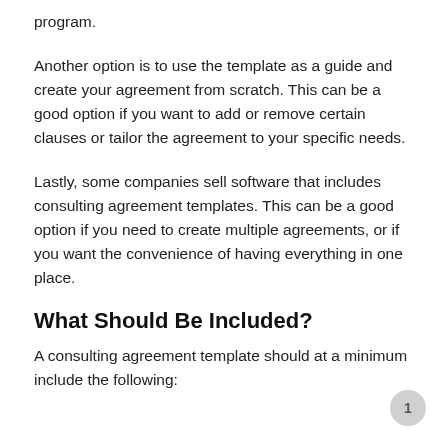program.
Another option is to use the template as a guide and create your agreement from scratch. This can be a good option if you want to add or remove certain clauses or tailor the agreement to your specific needs.
Lastly, some companies sell software that includes consulting agreement templates. This can be a good option if you need to create multiple agreements, or if you want the convenience of having everything in one place.
What Should Be Included?
A consulting agreement template should at a minimum include the following: